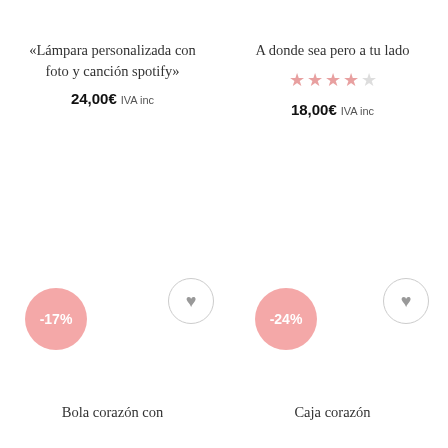«Lámpara personalizada con foto y canción spotify»
24,00€ IVA inc
A donde sea pero a tu lado
★★★★☆
18,00€ IVA inc
[Figure (other): Pink circular discount badge with -17%]
[Figure (other): Gray circular heart/wishlist icon]
[Figure (other): Pink circular discount badge with -24%]
[Figure (other): Gray circular heart/wishlist icon]
Bola corazón con
Caja corazón personalizada con foto